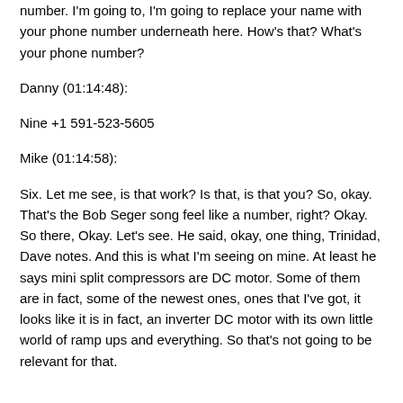number. I'm going to, I'm going to replace your name with your phone number underneath here. How's that? What's your phone number?
Danny (01:14:48):
Nine +1 591-523-5605
Mike (01:14:58):
Six. Let me see, is that work? Is that, is that you? So, okay. That's the Bob Seger song feel like a number, right? Okay. So there, Okay. Let's see. He said, okay, one thing, Trinidad, Dave notes. And this is what I'm seeing on mine. At least he says mini split compressors are DC motor. Some of them are in fact, some of the newest ones, ones that I've got, it looks like it is in fact, an inverter DC motor with its own little world of ramp ups and everything. So that's not going to be relevant for that.